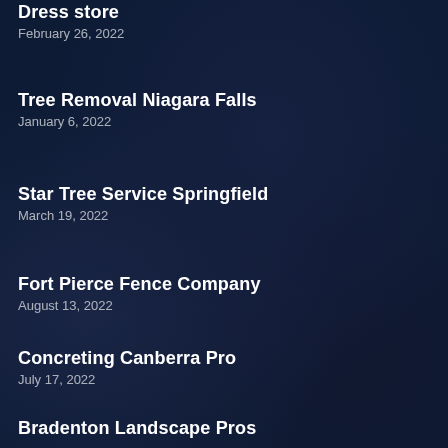Dress store
February 26, 2022
Tree Removal Niagara Falls
January 6, 2022
Star Tree Service Springfield
March 19, 2022
Fort Pierce Fence Company
August 13, 2022
Concreting Canberra Pro
July 17, 2022
Bradenton Landscape Pros